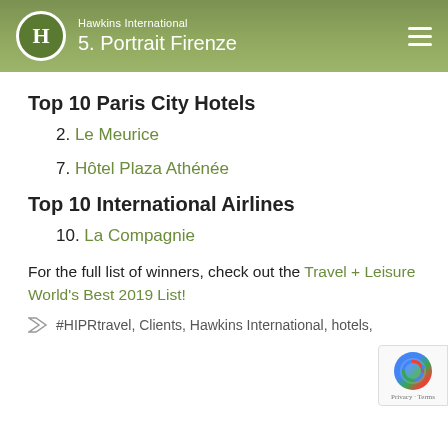Hawkins International | 5. Portrait Firenze
Top 10 Paris City Hotels
2. Le Meurice
7. Hôtel Plaza Athénée
Top 10 International Airlines
10. La Compagnie
For the full list of winners, check out the Travel + Leisure World's Best 2019 List!
#HIPRtravel, Clients, Hawkins International, hotels,